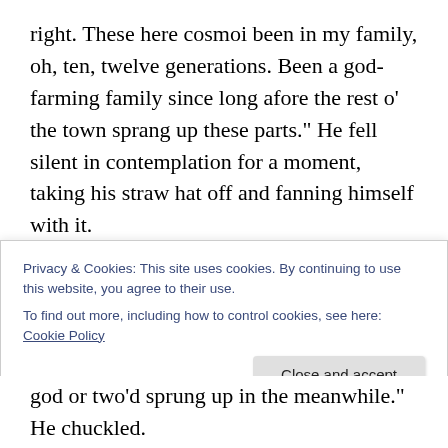right. These here cosmoi been in my family, oh, ten, twelve generations. Been a god-farming family since long afore the rest o’ the town sprang up these parts.” He fell silent in contemplation for a moment, taking his straw hat off and fanning himself with it.
I blinked, not entirely sure what to say to that. “I had no idea the… industry went back that far.”
“Oh sure!” He brightened. “Deiculture goes way back. Weren’t no civilization afore it started. ‘Course, it weren’t like this back then” he continued, and the first
Privacy & Cookies: This site uses cookies. By continuing to use this website, you agree to their use.
To find out more, including how to control cookies, see here: Cookie Policy
god or two’d sprung up in the meanwhile.” He chuckled.